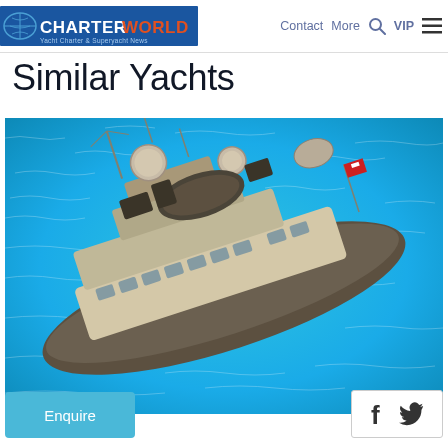CHARTERWORLD | Contact | More | VIP
Similar Yachts
[Figure (photo): Aerial view of a large luxury expedition yacht with multiple radar domes, communication masts, and tender on deck, photographed from above while underway on turquoise/blue water]
Enquire
f  (twitter bird)